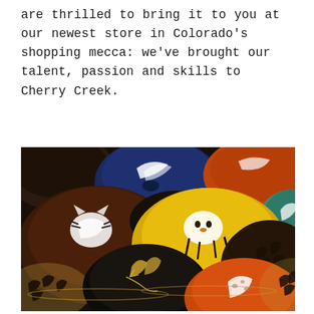are thrilled to bring it to you at our newest store in Colorado's shopping mecca: we've brought our talent, passion and skills to Cherry Creek.
[Figure (photo): A collection of colorful decorative bowls with animal and nature-themed designs including tigers, giraffes, birds, and abstract patterns in various colors: navy blue, yellow, orange, teal, brown, and black with gold accents.]